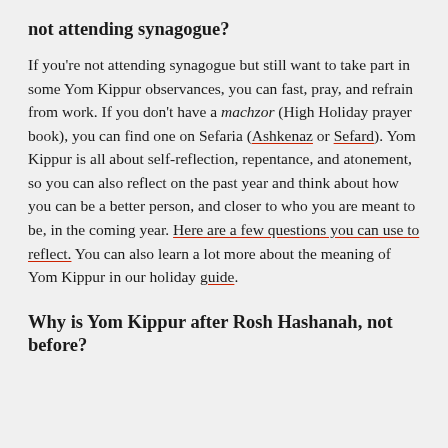not attending synagogue?
If you're not attending synagogue but still want to take part in some Yom Kippur observances, you can fast, pray, and refrain from work. If you don't have a machzor (High Holiday prayer book), you can find one on Sefaria (Ashkenaz or Sefard). Yom Kippur is all about self-reflection, repentance, and atonement, so you can also reflect on the past year and think about how you can be a better person, and closer to who you are meant to be, in the coming year. Here are a few questions you can use to reflect. You can also learn a lot more about the meaning of Yom Kippur in our holiday guide.
Why is Yom Kippur after Rosh Hashanah, not before?